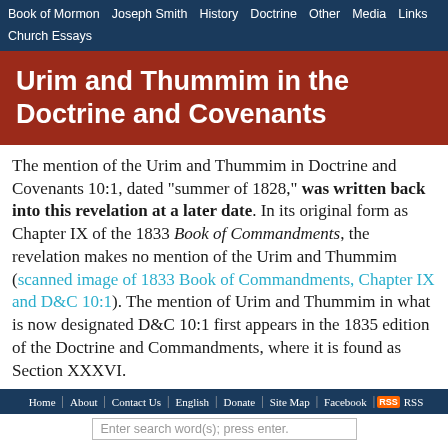Book of Mormon  Joseph Smith  History  Doctrine  Other  Media  Links  Church Essays
Urim and Thummim in the Doctrine and Covenants
The mention of the Urim and Thummim in Doctrine and Covenants 10:1, dated "summer of 1828," was written back into this revelation at a later date. In its original form as Chapter IX of the 1833 Book of Commandments, the revelation makes no mention of the Urim and Thummim (scanned image of 1833 Book of Commandments, Chapter IX and D&C 10:1). The mention of Urim and Thummim in what is now designated D&C 10:1 first appears in the 1835 edition of the Doctrine and Commandments, where it is found as Section XXXVI.
Home | About | Contact Us | English | Donate | Site Map | Facebook | RSS
Enter search word(s); press enter.